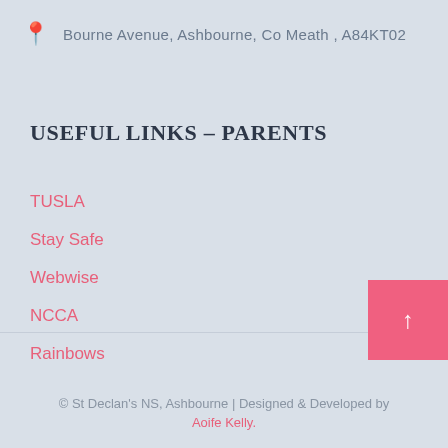Bourne Avenue, Ashbourne, Co Meath , A84KT02
USEFUL LINKS – PARENTS
TUSLA
Stay Safe
Webwise
NCCA
Rainbows
© St Declan's NS, Ashbourne | Designed & Developed by Aoife Kelly.